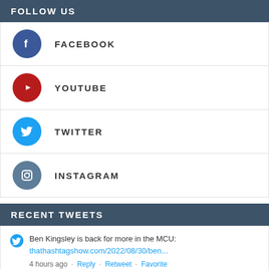FOLLOW US
FACEBOOK
YOUTUBE
TWITTER
INSTAGRAM
RECENT TWEETS
Ben Kingsley is back for more in the MCU: thathashtagshow.com/2022/08/30/ben...
4 hours ago · Reply · Retweet · Favorite